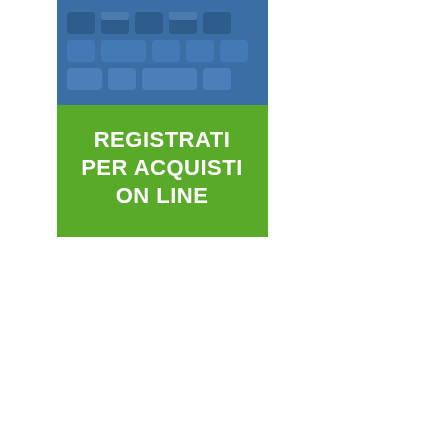[Figure (illustration): A banner image showing blue computer keyboard keys at the top, and a green rectangle below with bold white text reading 'REGISTRATI PER ACQUISTI ON LINE']